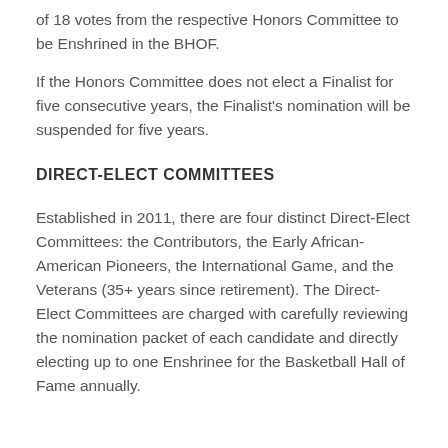of 18 votes from the respective Honors Committee to be Enshrined in the BHOF.
If the Honors Committee does not elect a Finalist for five consecutive years, the Finalist's nomination will be suspended for five years.
DIRECT-ELECT COMMITTEES
Established in 2011, there are four distinct Direct-Elect Committees: the Contributors, the Early African-American Pioneers, the International Game, and the Veterans (35+ years since retirement). The Direct-Elect Committees are charged with carefully reviewing the nomination packet of each candidate and directly electing up to one Enshrinee for the Basketball Hall of Fame annually.